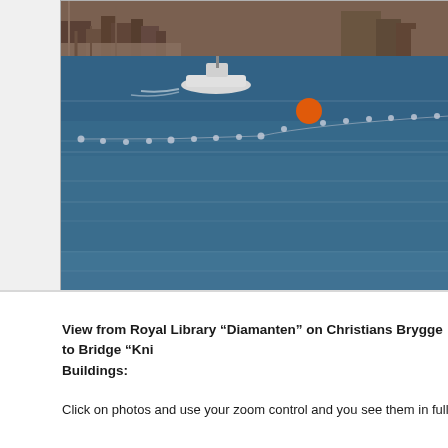[Figure (photo): Photograph of a blue harbor/canal waterway with a white motorboat moving through the water, an orange buoy visible, a string of small white buoys/floats across the water, and buildings and a bridge visible in the background. View toward Royal Library Diamanten, Bridge Langebro in middle.]
View to Royal Library “Diamanten” at right, Bridge “Langebro in middle and a
View from Royal Library “Diamanten” on Christians Brygge to Bridge “Kni Buildings:
Click on photos and use your zoom control and you see them in full screen size.